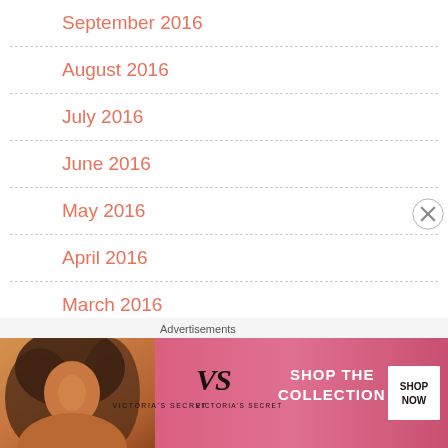September 2016
August 2016
July 2016
June 2016
May 2016
April 2016
March 2016
February 2016
January 2016
[Figure (photo): Victoria's Secret advertisement banner with model, VS logo, 'SHOP THE COLLECTION' text, and 'SHOP NOW' button]
Advertisements